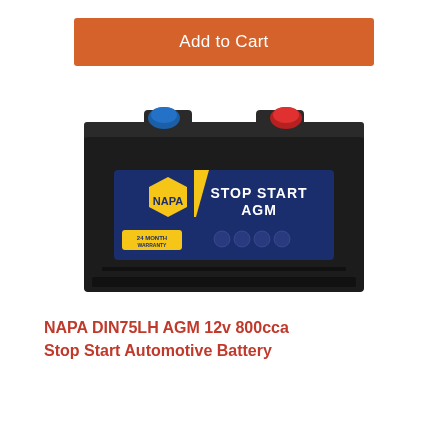Add to Cart
[Figure (photo): NAPA DIN75LH AGM Stop Start automotive car battery — black rectangular battery with blue and red terminal caps on top, a blue label with the NAPA hexagon logo, yellow diagonal stripe, and text 'STOP START AGM' with '24 MONTH WARRANTY' badge]
NAPA DIN75LH AGM 12v 800cca Stop Start Automotive Battery